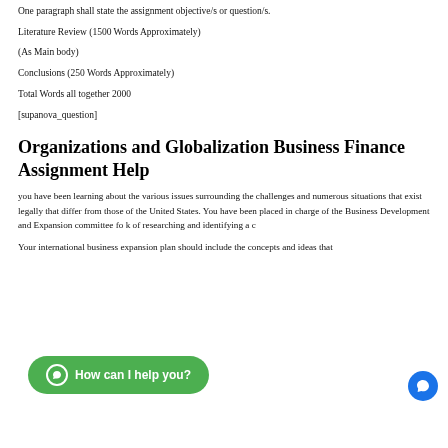One paragraph shall state the assignment objective/s or question/s.
Literature Review (1500 Words Approximately)
(As Main body)
Conclusions (250 Words Approximately)
Total Words all together 2000
[supanova_question]
Organizations and Globalization Business Finance Assignment Help
you have been learning about the various issues surrounding the challenges and numerous situations that exist legally that differ from those of the United States. You have been placed in charge of the Business Development and Expansion committee fo... k of researching and identifying a c...
Your international business expansion plan should include the concepts and ideas that